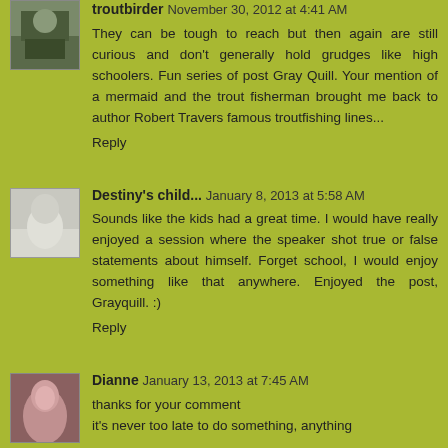troutbirder November 30, 2012 at 4:41 AM
They can be tough to reach but then again are still curious and don't generally hold grudges like high schoolers. Fun series of post Gray Quill. Your mention of a mermaid and the trout fisherman brought me back to author Robert Travers famous troutfishing lines...
Reply
Destiny's child... January 8, 2013 at 5:58 AM
Sounds like the kids had a great time. I would have really enjoyed a session where the speaker shot true or false statements about himself. Forget school, I would enjoy something like that anywhere. Enjoyed the post, Grayquill. :)
Reply
Dianne January 13, 2013 at 7:45 AM
thanks for your comment
it's never too late to do something, anything